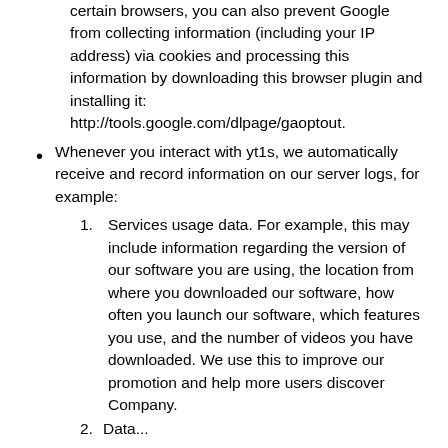certain browsers, you can also prevent Google from collecting information (including your IP address) via cookies and processing this information by downloading this browser plugin and installing it: http://tools.google.com/dlpage/gaoptout.
Whenever you interact with yt1s, we automatically receive and record information on our server logs, for example:
1. Services usage data. For example, this may include information regarding the version of our software you are using, the location from where you downloaded our software, how often you launch our software, which features you use, and the number of videos you have downloaded. We use this to improve our promotion and help more users discover Company.
2. Data...